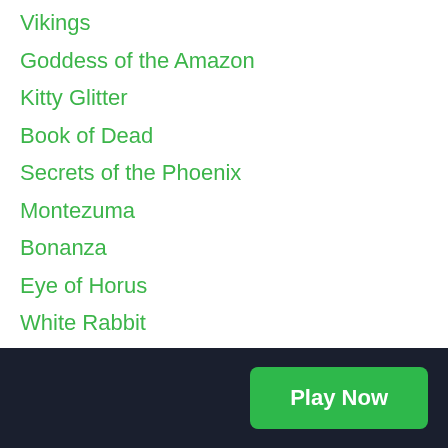Vikings
Goddess of the Amazon
Kitty Glitter
Book of Dead
Secrets of the Phoenix
Montezuma
Bonanza
Eye of Horus
White Rabbit
Extra Chilli
Ted
Jack's Pot
Fire Forge
Return of Kong Megaways
[Figure (other): Play Now button in dark footer bar]